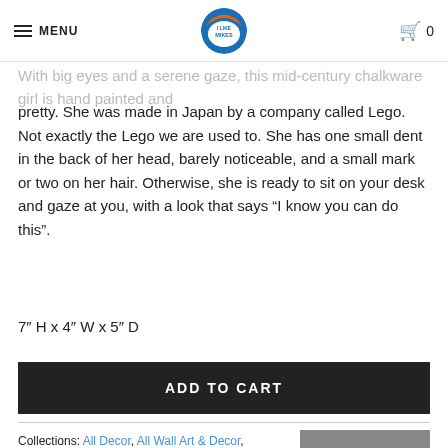MENU | I Like Mikes [logo] | Cart 0
With big eyes and a serene gaze, this mid-century chalkware girl is hand painted and pretty. She was made in Japan by a company called Lego. Not exactly the Lego we are used to. She has one small dent in the back of her head, barely noticeable, and a small mark or two on her hair. Otherwise, she is ready to sit on your desk and gaze at you, with a look that says “I know you can do this”.

7” H x 4” W x 5” D
ADD TO CART
Collections: All Decor, All Wall Art & Decor, Sculpture & Objets d’art
SHARE